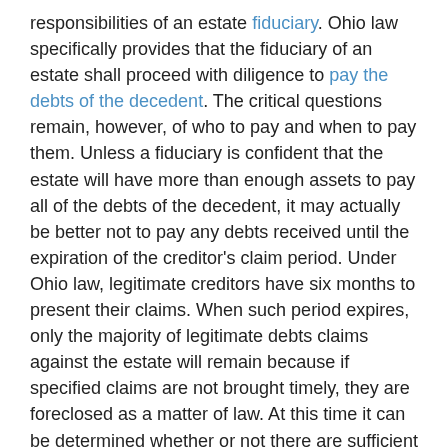responsibilities of an estate fiduciary. Ohio law specifically provides that the fiduciary of an estate shall proceed with diligence to pay the debts of the decedent. The critical questions remain, however, of who to pay and when to pay them. Unless a fiduciary is confident that the estate will have more than enough assets to pay all of the debts of the decedent, it may actually be better not to pay any debts received until the expiration of the creditor's claim period. Under Ohio law, legitimate creditors have six months to present their claims. When such period expires, only the majority of legitimate debts claims against the estate will remain because if specified claims are not brought timely, they are foreclosed as a matter of law. At this time it can be determined whether or not there are sufficient probate assets with which to pay the debts or if the estate is insolvent. Most people, however, are ignorant of this little wrinkle of Ohio probate law. As such, when a loved one or friend passes, always contact an experienced Ohio probate attorney.